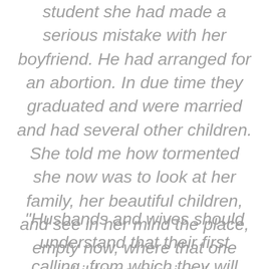student she had made a serious mistake with her boyfriend. He had arranged for an abortion. In due time they graduated and were married and had several other children. She told me how tormented she now was to look at her family, her beautiful children, and see in her mind the place, empty now, where that one child was missing."
"Husbands and wives should understand that their first calling, from which they will